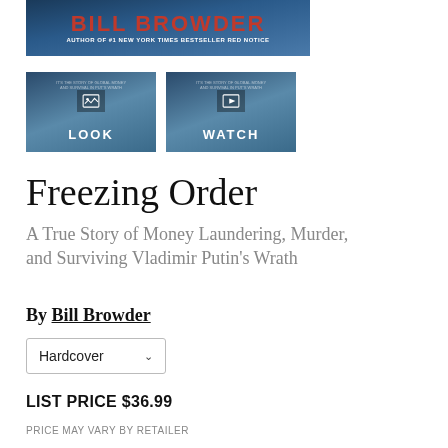[Figure (photo): Book cover top strip showing author name BILL BROWDER in red letters and subtitle AUTHOR OF #1 NEW YORK TIMES BESTSELLER RED NOTICE on a dark blue icy background]
[Figure (screenshot): Two thumbnail buttons side by side: LOOK button with image icon and WATCH button with play icon, both overlaid on icy book cover background]
Freezing Order
A True Story of Money Laundering, Murder, and Surviving Vladimir Putin's Wrath
By Bill Browder
Hardcover
LIST PRICE $36.99
PRICE MAY VARY BY RETAILER